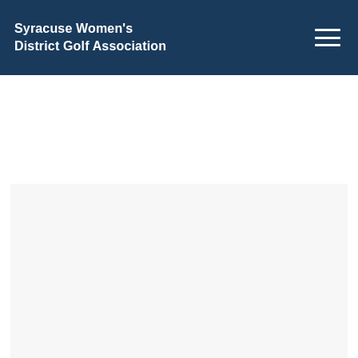Syracuse Women's District Golf Association
[Figure (other): Light gray placeholder content box below a white space area]